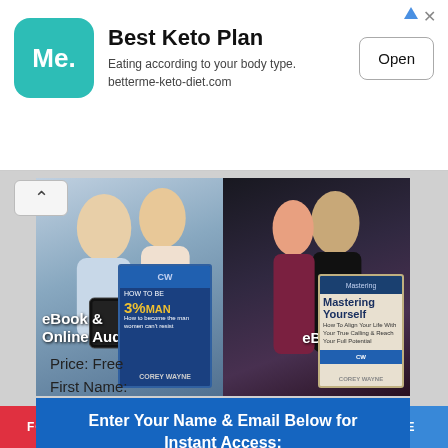[Figure (screenshot): Advertisement banner for Best Keto Plan app (BetterMe) with teal 'Me.' logo icon, title 'Best Keto Plan', subtitle 'Eating according to your body type. betterme-keto-diet.com', and an 'Open' button.]
[Figure (photo): Promotional image showing two couples and two book covers: 'How to Be a 3% Man' and 'Mastering Yourself' by Corey Wayne. Labels: 'eBook & Online Audio' and 'eBook'.]
Enter Your Name & Email Below for Instant Access:
Price: Free
First Name:
FOLLOW   DONATE   PRODUCTS   SHARE